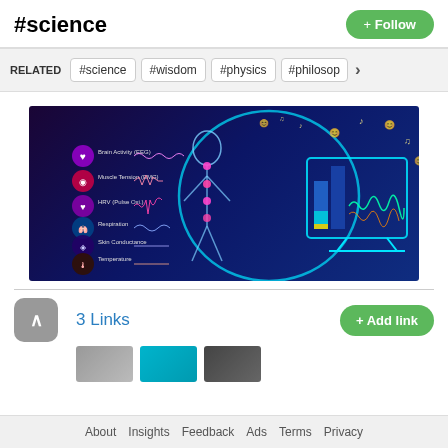#science
+ Follow
RELATED  #science  #wisdom  #physics  #philosop  >
[Figure (illustration): Scientific/medical infographic showing a glowing human body silhouette with biometric sensor readings (brain activity, muscle tension, HRV, respiration, skin conductance, temperature) and a monitor displaying waveform data, surrounded by emoji and music note icons in a dark blue/purple background.]
3 Links
+ Add link
About  Insights  Feedback  Ads  Terms  Privacy